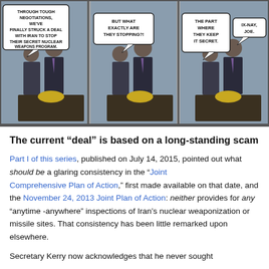[Figure (illustration): Three-panel political comic strip showing two figures at a podium (appearing to be Obama and Biden). Panel 1: speech bubble reads 'THROUGH TOUGH NEGOTIATIONS, WE'VE FINALLY STRUCK A DEAL WITH IRAN TO STOP THEIR SECRET NUCLEAR WEAPONS PROGRAM.' Panel 2: speech bubble reads 'BUT WHAT EXACTLY ARE THEY STOPPING?!' Panel 3: two speech bubbles read 'THE PART WHERE THEY KEEP IT SECRET.' and 'IX-NAY, JOE.']
The current “deal” is based on a long-standing scam
Part I of this series, published on July 14, 2015, pointed out what should be a glaring consistency in the “Joint Comprehensive Plan of Action,” first made available on that date, and the November 24, 2013 Joint Plan of Action: neither provides for any “anytime -anywhere” inspections of Iran’s nuclear weaponization or missile sites. That consistency has been little remarked upon elsewhere.
Secretary Kerry now acknowledges that he never sought